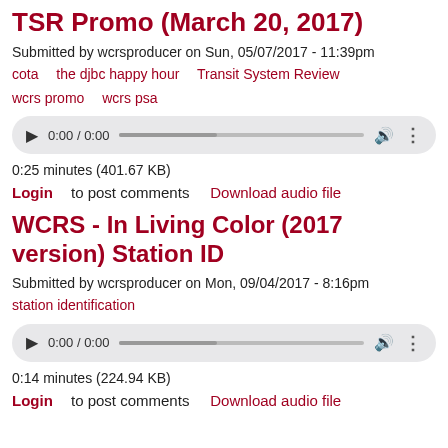TSR Promo (March 20, 2017)
Submitted by wcrsproducer on Sun, 05/07/2017 - 11:39pm
cota    the djbc happy hour    Transit System Review    wcrs promo    wcrs psa
[Figure (other): Audio player widget showing 0:00 / 0:00]
0:25 minutes (401.67 KB)
Login to post comments    Download audio file
WCRS - In Living Color (2017 version) Station ID
Submitted by wcrsproducer on Mon, 09/04/2017 - 8:16pm
station identification
[Figure (other): Audio player widget showing 0:00 / 0:00]
0:14 minutes (224.94 KB)
Login to post comments    Download audio file